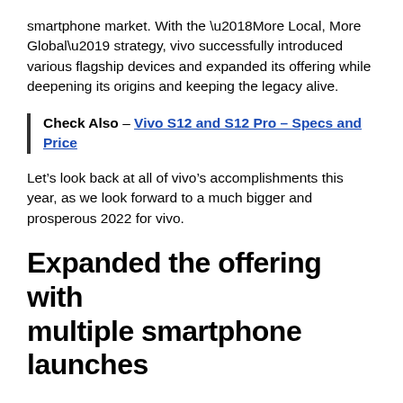smartphone market. With the ‘More Local, More Global’ strategy, vivo successfully introduced various flagship devices and expanded its offering while deepening its origins and keeping the legacy alive.
Check Also – Vivo S12 and S12 Pro – Specs and Price
Let’s look back at all of vivo’s accomplishments this year, as we look forward to a much bigger and prosperous 2022 for vivo.
Expanded the offering with multiple smartphone launches
vivo is known for its varied portfolio, and the brand released numerous products to its portfolio, which provides customers